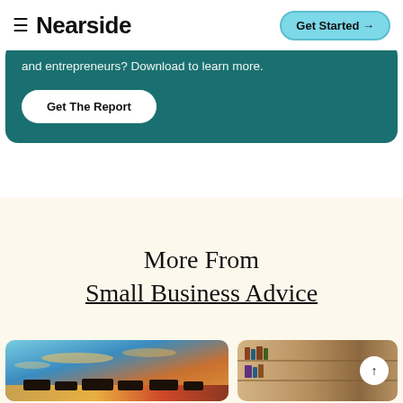≡ Nearside | Get Started →
and entrepreneurs? Download to learn more.
Get The Report
More From
Small Business Advice
[Figure (photo): Colorful sunset sky with trucks/vehicles silhouetted at the bottom]
[Figure (photo): Interior bookshelf/office scene with an up-arrow scroll button overlay]